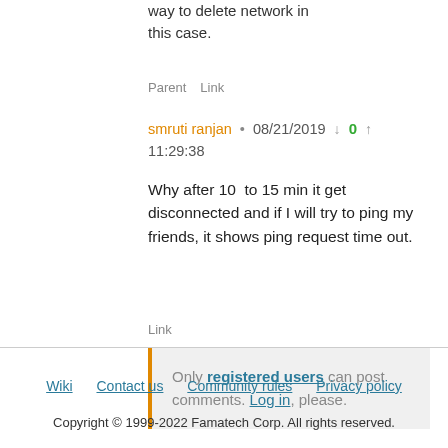way to delete network in this case.
Parent  Link
smruti ranjan • 08/21/2019 ↓ 0 ↑ 11:29:38
Why after 10  to 15 min it get disconnected and if I will try to ping my friends, it shows ping request time out.
Link
Only registered users can post comments. Log in, please.
Wiki  Contact us  Community rules  Privacy policy
Copyright © 1999-2022 Famatech Corp. All rights reserved.